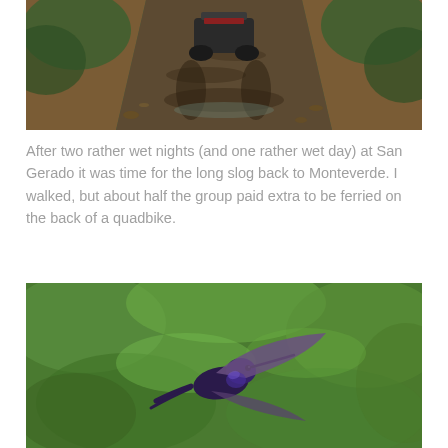[Figure (photo): A quadbike driving down a muddy dirt track through lush green jungle vegetation. The trail is wet with deep mud ruts.]
After two rather wet nights (and one rather wet day) at San Gerado it was time for the long slog back to Monteverde. I walked, but about half the group paid extra to be ferried on the back of a quadbike.
[Figure (photo): A close-up photograph of a dark purple/violet hummingbird in flight with wings spread, set against a blurred green leafy background.]